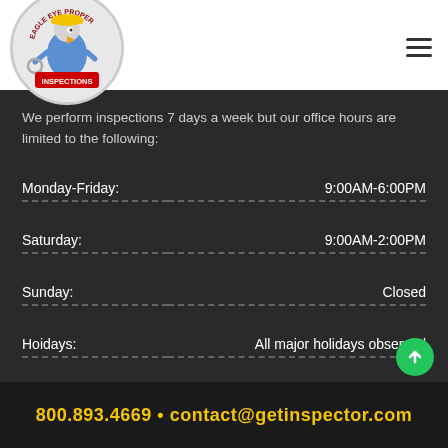[Figure (logo): Eagle Eye Property Inspections circular logo with eagle mascot wearing a hard hat and holding a magnifying glass]
We perform inspections 7 days a week but our office hours are limited to the following:
| Day | Hours |
| --- | --- |
| Monday-Friday: | 9:00AM-6:00PM |
| Saturday: | 9:00AM-2:00PM |
| Sunday: | Closed |
| Hoidays: | All major holidays observed |
800.893.4669 • contact@getinspector.com